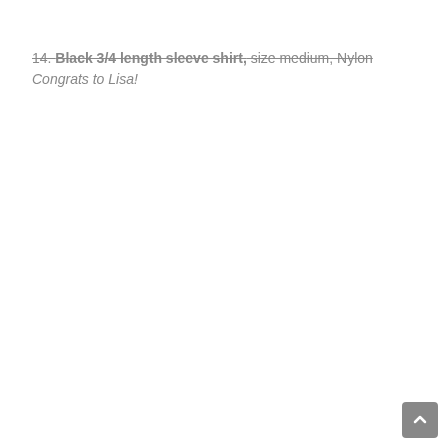14. Black 3/4 length sleeve shirt, size medium, Nylon Congrats to Lisa!